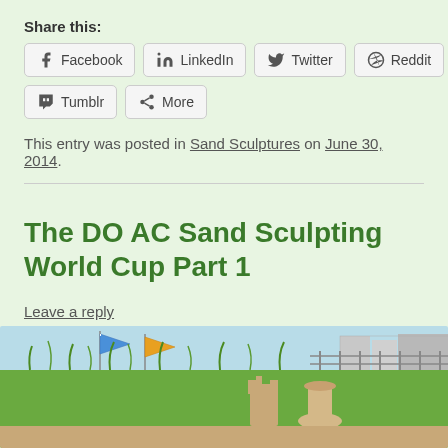Share this:
Facebook | LinkedIn | Twitter | Reddit | Tumblr | More
This entry was posted in Sand Sculptures on June 30, 2014.
The DO AC Sand Sculpting World Cup Part 1
Leave a reply
[Figure (photo): Outdoor beach scene showing sand sculptures, green dune grass, flags, and buildings in the background under a blue sky.]